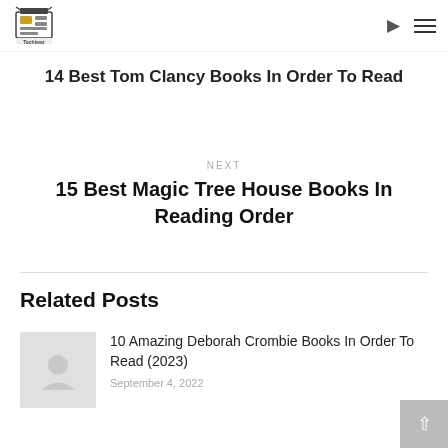Techiwar
14 Best Tom Clancy Books In Order To Read
NEXT
15 Best Magic Tree House Books In Reading Order
Related Posts
10 Amazing Deborah Crombie Books In Order To Read (2023)
September 4, 2022